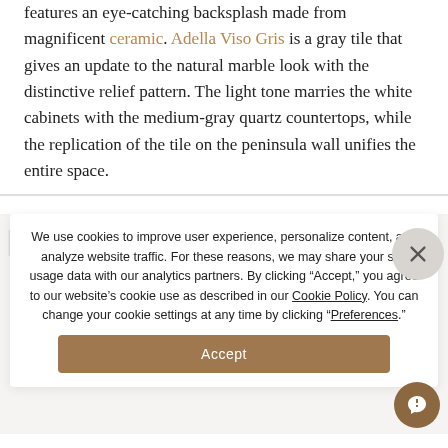features an eye-catching backsplash made from magnificent ceramic. Adella Viso Gris is a gray tile that gives an update to the natural marble look with the distinctive relief pattern. The light tone marries the white cabinets with the medium-gray quartz countertops, while the replication of the tile on the peninsula wall unifies the entire space.
We use cookies to improve user experience, personalize content, and analyze website traffic. For these reasons, we may share your site usage data with our analytics partners. By clicking "Accept," you agree to our website's cookie use as described in our Cookie Policy. You can change your cookie settings at any time by clicking "Preferences".